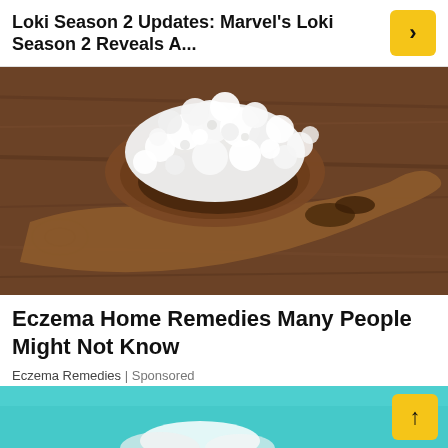Loki Season 2 Updates: Marvel's Loki Season 2 Reveals A...
[Figure (photo): A wooden spoon holding white cottage cheese or kefir grains on a rustic wooden surface background]
Eczema Home Remedies Many People Might Not Know
Eczema Remedies | Sponsored
[Figure (photo): Bottom section showing a teal/turquoise background, partially visible, with a yellow up-arrow button in the bottom right corner]